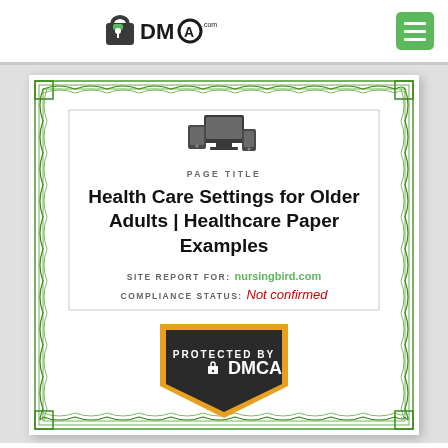[Figure (logo): DMCA.com logo with padlock icon and green menu button]
Health Care Settings for Older Adults | Healthcare Paper Examples
PAGE TITLE
SITE REPORT FOR: nursingbird.com
COMPLIANCE STATUS: Not confirmed
[Figure (logo): DMCA Protected By badge - dark shield with orange border and DMCA logo]